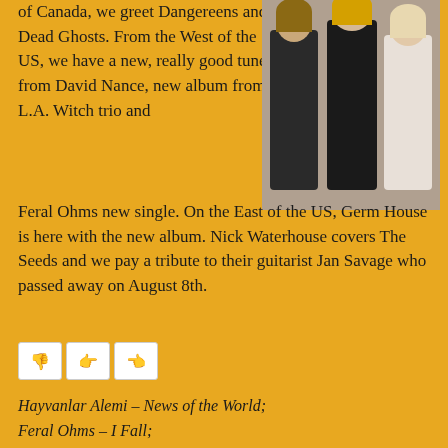of Canada, we greet Dangereens and Dead Ghosts. From the West of the US, we have a new, really good tune from David Nance, new album from L.A. Witch trio and Feral Ohms new single. On the East of the US, Germ House is here with the new album. Nick Waterhouse covers The Seeds and we pay a tribute to their guitarist Jan Savage who passed away on August 8th.
[Figure (photo): Three women standing together, wearing black outfits]
[Figure (other): Three social media sharing/reaction icon buttons]
Hayvanlar Alemi – News of the World;
Feral Ohms – I Fall;
Dead Ghosts – Blackout;
Bad Sports – Cardboard Suits;
David Nance – Poison;
David Nance – When The Covers Come Off;
L.A. Witch – I Wanna Lose;